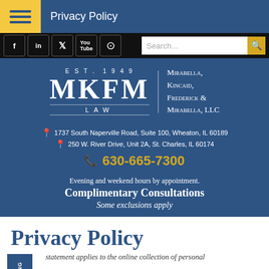Privacy Policy
[Figure (logo): MKFM Law firm logo — EST. 1949, MKFM LAW — Mirabella, Kincaid, Frederick & Mirabella, LLC]
1737 South Naperville Road, Suite 100, Wheaton, IL 60189
250 W. River Drive, Unit 2A, St. Charles, IL 60174
630-665-7300
Evening and weekend hours by appointment.
Complimentary Consultations
Some exclusions apply
Privacy Policy
statement applies to the online collection of personal